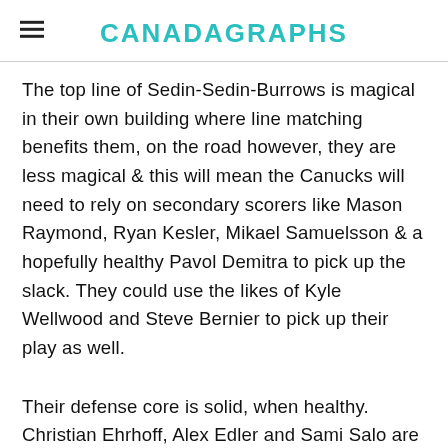CANADAGRAPHS
The top line of Sedin-Sedin-Burrows is magical in their own building where line matching benefits them, on the road however, they are less magical & this will mean the Canucks will need to rely on secondary scorers like Mason Raymond, Ryan Kesler, Mikael Samuelsson & a hopefully healthy Pavol Demitra to pick up the slack. They could use the likes of Kyle Wellwood and Steve Bernier to pick up their play as well.
Their defense core is solid, when healthy. Christian Ehrhoff, Alex Edler and Sami Salo are quite capable puck moves, while Willie Mitchell, Shane O'Brien and Aaron Rome are capable defensive defenders. But